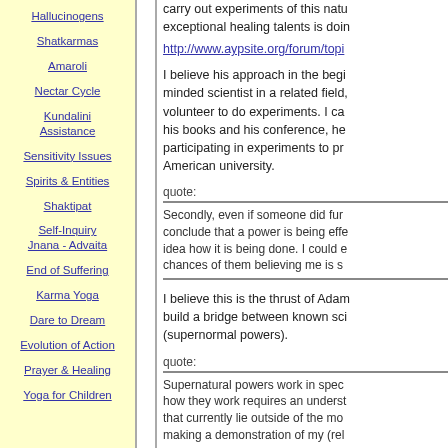Hallucinogens
Shatkarmas
Amaroli
Nectar Cycle
Kundalini Assistance
Sensitivity Issues
Spirits & Entities
Shaktipat
Self-Inquiry Jnana - Advaita
End of Suffering
Karma Yoga
Dare to Dream
Evolution of Action
Prayer & Healing
Yoga for Children
carry out experiments of this nature... exceptional healing talents is doing...
http://www.aypsite.org/forum/topic...
I believe his approach in the beginning... minded scientist in a related field, ... volunteer to do experiments. I can... his books and his conference, he... participating in experiments to pro... American university.
quote: Secondly, even if someone did fun... conclude that a power is being effe... idea how it is being done. I could e... chances of them believing me is s...
I believe this is the thrust of Adam... build a bridge between known sci... (supernormal powers).
quote: Supernatural powers work in spec... how they work requires an underst... that currently lie outside of the mo... making a demonstration of my (rel...